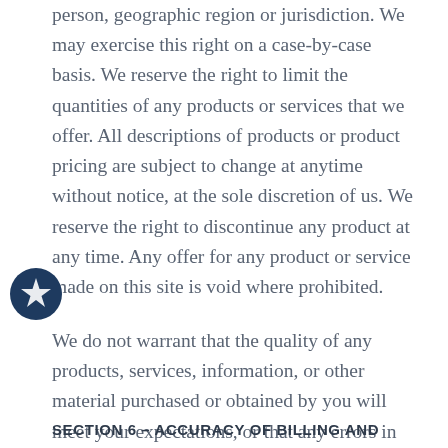person, geographic region or jurisdiction. We may exercise this right on a case-by-case basis. We reserve the right to limit the quantities of any products or services that we offer. All descriptions of products or product pricing are subject to change at anytime without notice, at the sole discretion of us. We reserve the right to discontinue any product at any time. Any offer for any product or service made on this site is void where prohibited.
We do not warrant that the quality of any products, services, information, or other material purchased or obtained by you will meet your expectations, or that any errors in the Service will be corrected.
SECTION 6 – ACCURACY OF BILLING AND